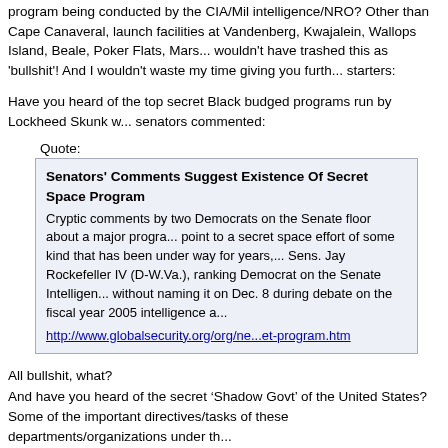program being conducted by the CIA/Mil intelligence/NRO? Other than Cape Canaveral, launch facilities at Vandenberg, Kwajalein, Wallops Island, Beale, Poker Flats, Mars... wouldn't have trashed this as 'bullshit'! And I wouldn't waste my time giving you further starters:
Have you heard of the top secret Black budged programs run by Lockheed Skunk w... senators commented:
Quote:
Senators' Comments Suggest Existence Of Secret Space Program
Cryptic comments by two Democrats on the Senate floor about a major progra... point to a secret space effort of some kind that has been under way for years,... Sens. Jay Rockefeller IV (D-W.Va.), ranking Democrat on the Senate Intelligen... without naming it on Dec. 8 during debate on the fiscal year 2005 intelligence a...
http://www.globalsecurity.org/org/ne...et-program.htm
All bullshit, what?
And have you heard of the secret ‘Shadow Govt’ of the United States?
Some of the important directives/tasks of these departments/organizations under th...
Quote:
National Reconnaissance Office(NRO).
Controls and collects information from global spy satellites, monitors UFO traff...